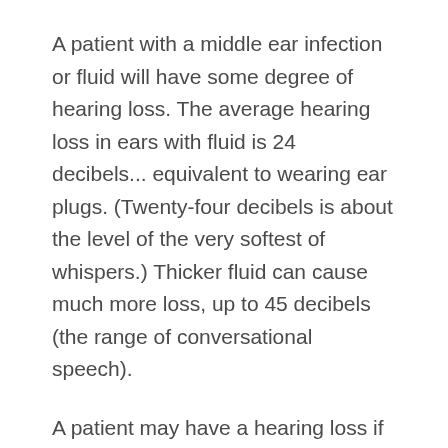A patient with a middle ear infection or fluid will have some degree of hearing loss. The average hearing loss in ears with fluid is 24 decibels... equivalent to wearing ear plugs. (Twenty-four decibels is about the level of the very softest of whispers.) Thicker fluid can cause much more loss, up to 45 decibels (the range of conversational speech).
A patient may have a hearing loss if he or she is unable to understand certain words and speaks louder than normal. Essentially, a patient experiencing hearing loss from middle ear infections will hear muffled sounds and misunderstand speech rather than incur a